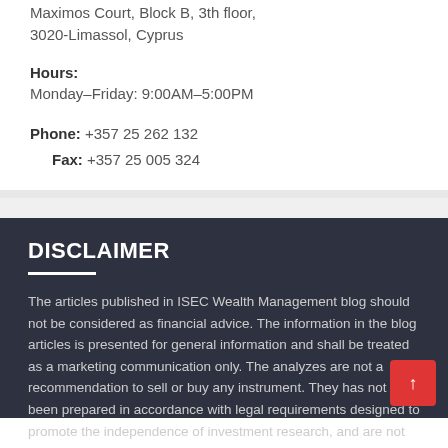Maximos Court, Block B, 3th floor, 3020-Limassol, Cyprus
Hours: Monday–Friday: 9:00AM–5:00PM
Phone: +357 25 262 132
Fax: +357 25 005 324
DISCLAIMER
The articles published in ISEC Wealth Management blog should not be considered as financial advice. The information in the blog articles is presented for general information and shall be treated as a marketing communication only. The analyzes are not a recommendation to sell or buy any instrument. They has not been prepared in accordance with legal requirements designed to promote the independence of investment research, and are not